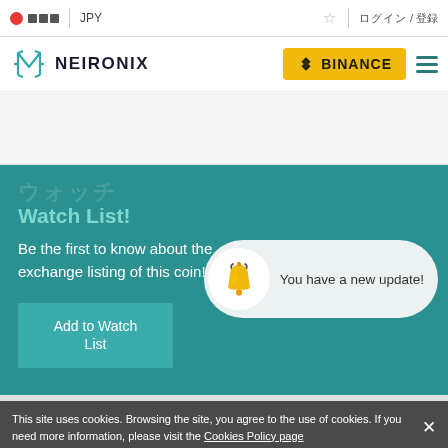JPY | ログイン / 登録
[Figure (logo): Neironix logo with teal geometric N icon and bold text]
[Figure (logo): Binance yellow button logo]
Watch List!
Be the first to know about the exchange listing of this coin!
You have a new update!
Add to Watch List
This site uses cookies. Browsing the site, you agree to the use of cookies. If you need more information, please visit the Cookies Policy page